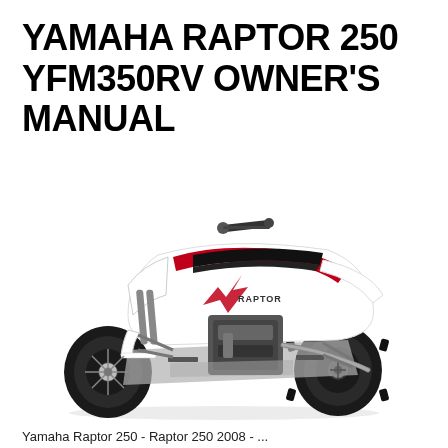YAMAHA RAPTOR 250 YFM350RV OWNER'S MANUAL
[Figure (photo): Side-view photograph of a Yamaha Raptor 250 ATV (all-terrain vehicle) in white and red color scheme, showing the quad bike with four knobby tires, engine visible, handlebars, seat, and 'RAPTOR' text on the body panel.]
Yamaha Raptor 250 - Raptor 250 2008 - ...